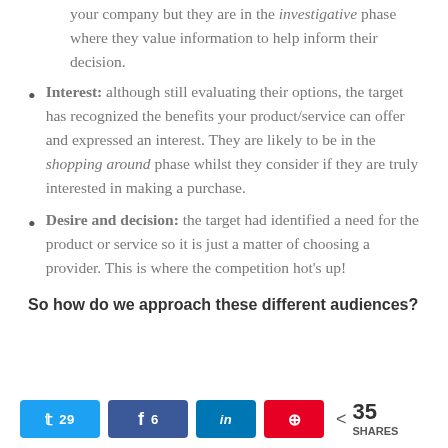your company but they are in the investigative phase where they value information to help inform their decision.
Interest: although still evaluating their options, the target has recognized the benefits your product/service can offer and expressed an interest. They are likely to be in the shopping around phase whilst they consider if they are truly interested in making a purchase.
Desire and decision: the target had identified a need for the product or service so it is just a matter of choosing a provider. This is where the competition hot's up!
So how do we approach these different audiences?
29 (Twitter), 6 (Facebook), LinkedIn share, Pinterest share, 35 SHARES